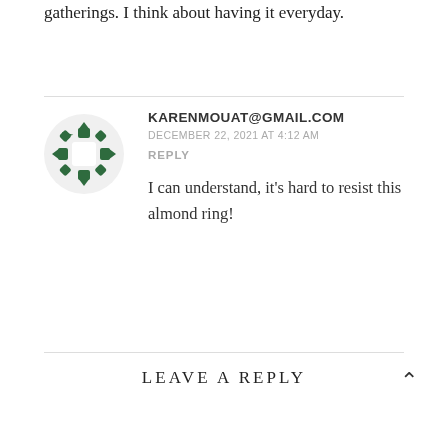gatherings. I think about having it everyday.
KARENMOUAT@GMAIL.COM
DECEMBER 22, 2021 AT 4:12 AM
REPLY

I can understand, it's hard to resist this almond ring!
LEAVE A REPLY